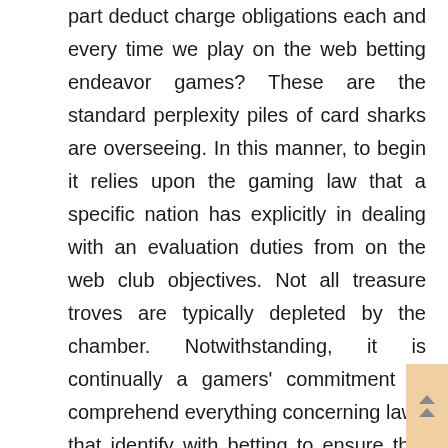part deduct charge obligations each and every time we play on the web betting endeavor games? These are the standard perplexity piles of card sharks are overseeing. In this manner, to begin it relies upon the gaming law that a specific nation has explicitly in dealing with an evaluation duties from on the web club objectives. Not all treasure troves are typically depleted by the chamber. Notwithstanding, it is continually a gamers' commitment to comprehend everything concerning laws that identify with betting to ensure that they will consider definitely how their nation deduct cash from their points of interest. Coming up next are the